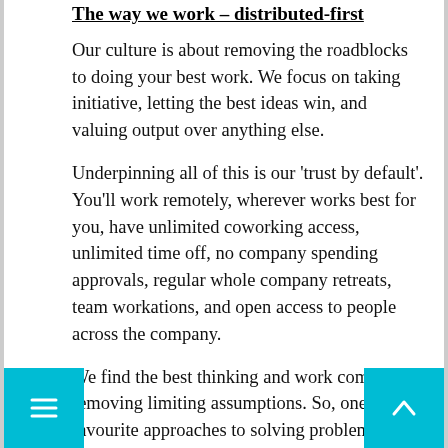The way we work – distributed-first
Our culture is about removing the roadblocks to doing your best work. We focus on taking initiative, letting the best ideas win, and valuing output over anything else.
Underpinning all of this is our 'trust by default'. You'll work remotely, wherever works best for you, have unlimited coworking access, unlimited time off, no company spending approvals, regular whole company retreats, team workations, and open access to people across the company.
We find the best thinking and work come from removing limiting assumptions. So, one of our favourite approaches to solving problems is simply: If anything is possible, then what will you do?